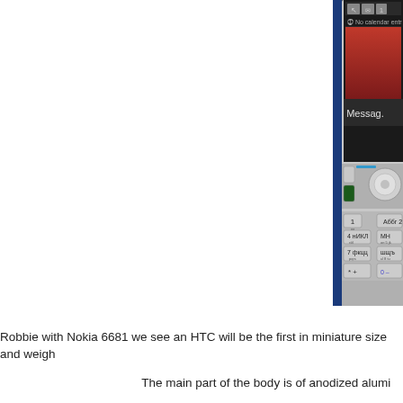[Figure (photo): Close-up photo of a Nokia 6681 mobile phone showing the screen displaying 'Messag.' and 'No calendar entr...' text, along with the keypad showing numeric keys and navigation buttons. The phone has a blue/silver color scheme.]
Comparing Robbie with Nokia 6681 we see an HTC will be the first in miniature size and weigh
The main part of the body is of anodized alumi